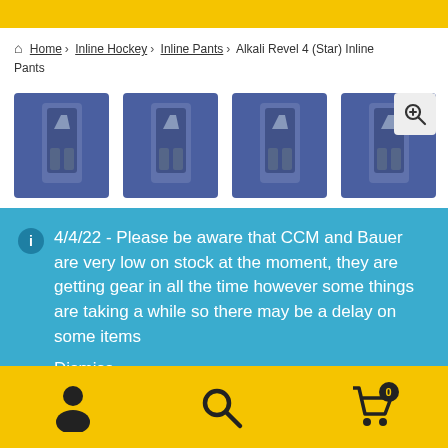Home › Inline Hockey › Inline Pants › Alkali Revel 4 (Star) Inline Pants
[Figure (photo): Four thumbnail images of inline hockey pants (Alkali Revel 4 Star) against a blue background, with a zoom icon on the last thumbnail]
4/4/22 - Please be aware that CCM and Bauer are very low on stock at the moment, they are getting gear in all the time however some things are taking a while so there may be a delay on some items
Dismiss